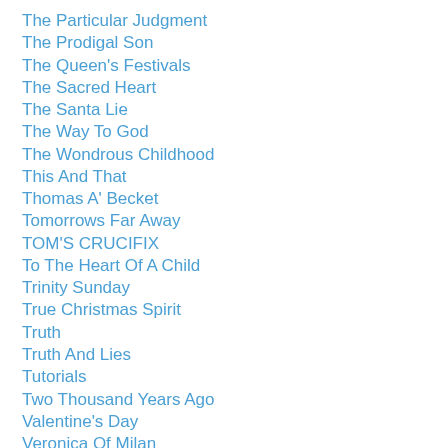The Particular Judgment
The Prodigal Son
The Queen's Festivals
The Sacred Heart
The Santa Lie
The Way To God
The Wondrous Childhood
This And That
Thomas A' Becket
Tomorrows Far Away
TOM'S CRUCIFIX
To The Heart Of A Child
Trinity Sunday
True Christmas Spirit
Truth
Truth And Lies
Tutorials
Two Thousand Years Ago
Valentine's Day
Veronica Of Milan